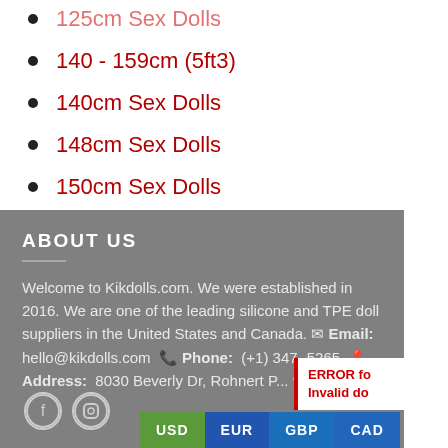125cm Sex Dolls
140 - 159cm (5ft3)
140cm Sex Dolls
148cm Sex Dolls
150cm Sex Dolls
ABOUT US
Welcome to Kikdolls.com. We were established in 2016. We are one of the leading silicone and TPE doll suppliers in the United States and Canada. Email: hello@kikdolls.com  Phone: (+1) 347-5265  Address: 8030 Beverly Dr, Rohnert P... 94928
USD  EUR  GBP  CAD